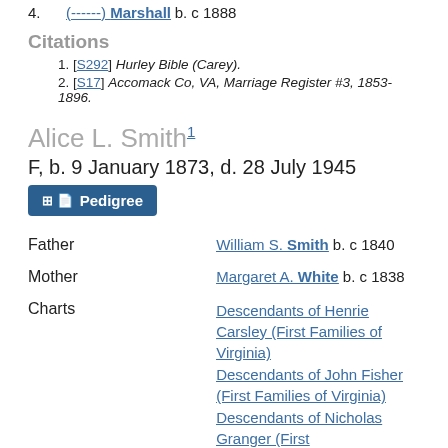4. (------) Marshall b. c 1888
Citations
1. [S292] Hurley Bible (Carey).
2. [S17] Accomack Co, VA, Marriage Register #3, 1853-1896.
Alice L. Smith1
F, b. 9 January 1873, d. 28 July 1945
Pedigree
Father   William S. Smith b. c 1840
Mother   Margaret A. White b. c 1838
Charts   Descendants of Henrie Carsley (First Families of Virginia) Descendants of John Fisher (First Families of Virginia) Descendants of Nicholas Granger (First